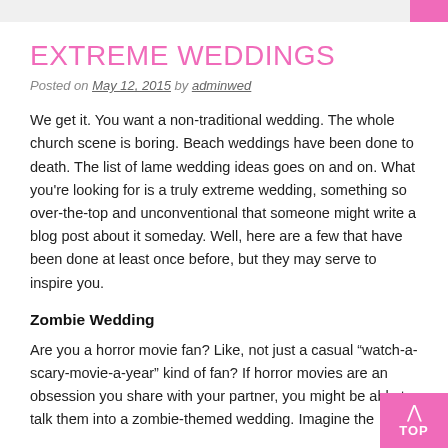EXTREME WEDDINGS
Posted on May 12, 2015 by adminwed
We get it. You want a non-traditional wedding. The whole church scene is boring. Beach weddings have been done to death. The list of lame wedding ideas goes on and on. What you're looking for is a truly extreme wedding, something so over-the-top and unconventional that someone might write a blog post about it someday. Well, here are a few that have been done at least once before, but they may serve to inspire you.
Zombie Wedding
Are you a horror movie fan? Like, not just a casual “watch-a-scary-movie-a-year” kind of fan? If horror movies are an obsession you share with your partner, you might be able to talk them into a zombie-themed wedding. Imagine the